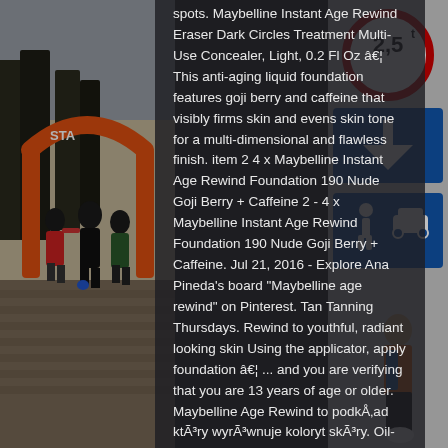[Figure (photo): Left background: outdoor running race with orange START arch, runners in dark clothing on a brick path, trees in background]
[Figure (photo): Right background: street scene with road signs including a 2.5t weight limit sign and blue directional arrow signs, a man in orange vest visible]
spots. Maybelline Instant Age Rewind Eraser Dark Circles Treatment Multi-Use Concealer, Light, 0.2 Fl Oz â€¦ This anti-aging liquid foundation features goji berry and caffeine that visibly firms skin and evens skin tone for a multi-dimensional and flawless finish. item 2 4 x Maybelline Instant Age Rewind Foundation 190 Nude Goji Berry + Caffeine 2 - 4 x Maybelline Instant Age Rewind Foundation 190 Nude Goji Berry + Caffeine. Jul 21, 2016 - Explore Ana Pineda's board "Maybelline age rewind" on Pinterest. Tan Tanning Thursdays. Rewind to youthful, radiant looking skin Using the applicator, apply foundation â€¦ ... and you are verifying that you are 13 years of age or older. Maybelline Age Rewind to podkÅ‚ad ktÃ³ry wyrÃ³wnuje koloryt skÃ³ry. Oil-Free Foundation #1 Best Seller Maybelline New York Instant Age Rewind Radiant Firming Makeup, Creamy Ivory 120, 1 Fluid Ounce, Pack of 2 Maybelline New York Dream Balm toner Creamy Ivory Tube 0.44